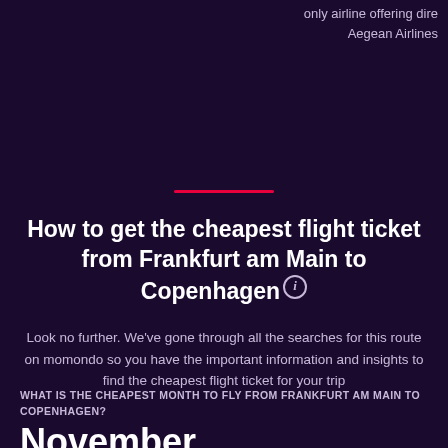only airline offering dire
Aegean Airlines
How to get the cheapest flight ticket from Frankfurt am Main to Copenhagen
Look no further. We've gone through all the searches for this route on momondo so you have the important information and insights to find the cheapest flight ticket for your trip
WHAT IS THE CHEAPEST MONTH TO FLY FROM FRANKFURT AM MAIN TO COPENHAGEN?
November